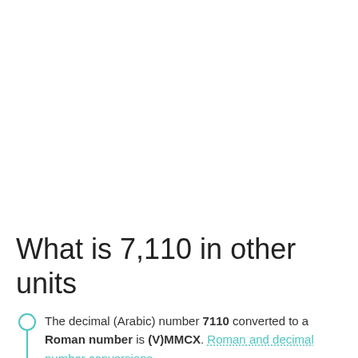What is 7,110 in other units
The decimal (Arabic) number 7110 converted to a Roman number is (V)MMCX. Roman and decimal number conversions.